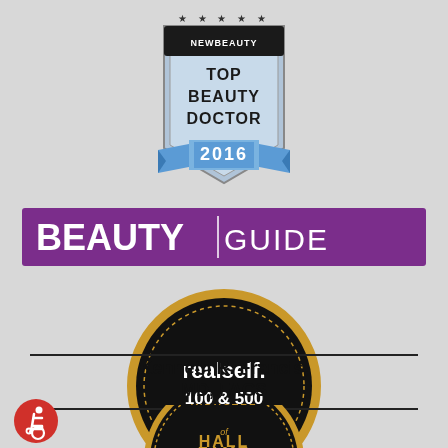[Figure (logo): NewBeauty Top Beauty Doctor 2016 badge/shield logo in silver and black with blue ribbon]
[Figure (logo): Beauty Guide banner with purple background, BEAUTY in white bold text and GUIDE in lighter text]
[Figure (logo): RealSelf 100 & 500 circular badge with gold border on black background]
Kenneth R. Francis, MD, FACS
INDUCTEE
[Figure (logo): Hall of Fame gold text on black circular arc badge bottom]
[Figure (logo): Wheelchair accessibility icon - red circle with white wheelchair symbol]